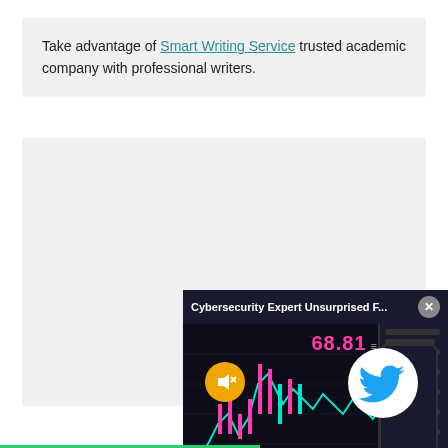Take advantage of Smart Writing Service trusted academic company with professional writers.
[Figure (screenshot): Advertisement overlay showing a financial trading chart with candlestick data, price label '68.81', a muted/sound button, and a Twitter bird logo on a phone screen. Header reads 'Cybersecurity Expert Unsurprised F...' with a close button.]